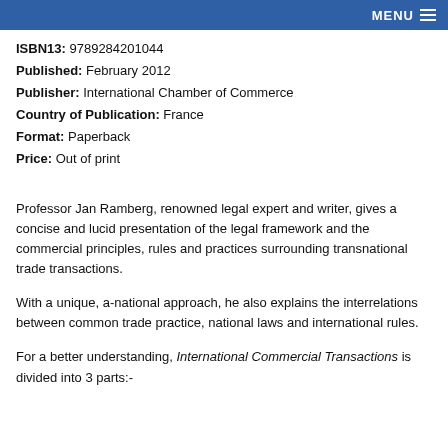MENU
ISBN13: 9789284201044
Published: February 2012
Publisher: International Chamber of Commerce
Country of Publication: France
Format: Paperback
Price: Out of print
Professor Jan Ramberg, renowned legal expert and writer, gives a concise and lucid presentation of the legal framework and the commercial principles, rules and practices surrounding transnational trade transactions.
With a unique, a-national approach, he also explains the interrelations between common trade practice, national laws and international rules.
For a better understanding, International Commercial Transactions is divided into 3 parts:-